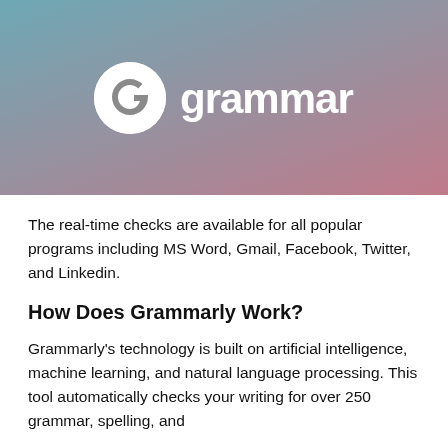[Figure (logo): Grammarly logo on a teal-to-pink gradient background. White circular G icon next to the white text 'grammarly'.]
The real-time checks are available for all popular programs including MS Word, Gmail, Facebook, Twitter, and Linkedin.
How Does Grammarly Work?
Grammarly's technology is built on artificial intelligence, machine learning, and natural language processing. This tool automatically checks your writing for over 250 grammar, spelling, and punctuation issues. Grammarly also built